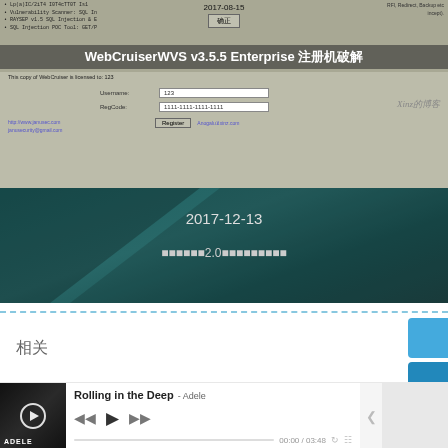[Figure (screenshot): WebCruiserWVS v3.5.5 Enterprise software registration dialog screenshot dated 2017-08-15, showing username '123' and RegCode '1111-1111-1111-1111' fields]
[Figure (screenshot): Dark teal background screenshot dated 2017-12-13 with Chinese subtitle text showing version 2.0 information]
相关
[Figure (screenshot): Music player bar showing 'Rolling in the Deep - Adele' with playback controls, time 00:00 / 03:48]